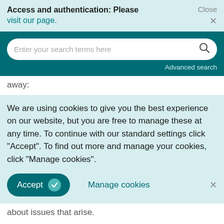Access and authentication: Please visit our page.
[Figure (screenshot): Search bar with placeholder text 'Enter your search terms here' and a magnifying glass icon, on a dark teal background. Below is 'Advanced search' right-aligned.]
away:
We are using cookies to give you the best experience on our website, but you are free to manage these at any time. To continue with our standard settings click "Accept". To find out more and manage your cookies, click "Manage cookies".
[Figure (screenshot): Cookie consent buttons: 'Accept' button with checkmark on teal background, 'Manage cookies' text link, and an X close button.]
about issues that arise.